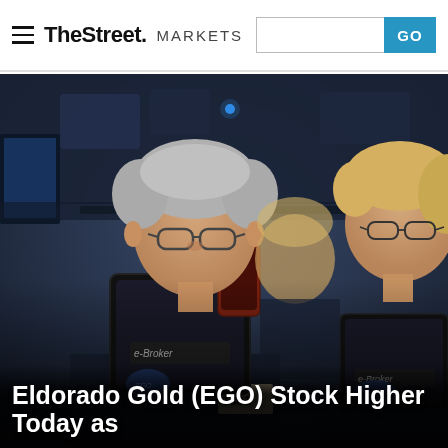TheStreet. MARKETS
[Figure (photo): Trading floor scene with two NYSE traders in dark shirts using e-Broker tablet devices; gray-haired trader in foreground, blond trader at right, with trading floor electronics and dark ceiling in background.]
Eldorado Gold (EGO) Stock Higher Today as